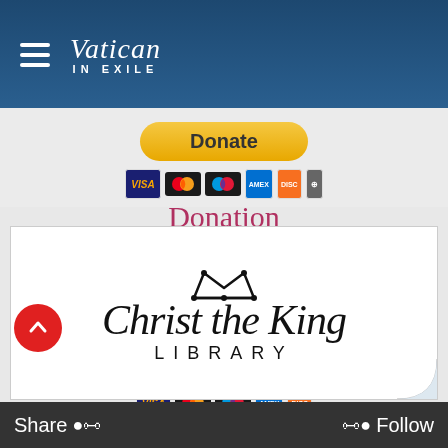Vatican in Exile
[Figure (logo): Donate button with payment card icons (Visa, Mastercard, Amex, Discover)]
Donation Amounts
$100 per month (dropdown)
[Figure (illustration): Subscribe button with payment card icons]
[Figure (logo): Christ the King Library logo with crown and script text]
Share ●)) ((● Follow